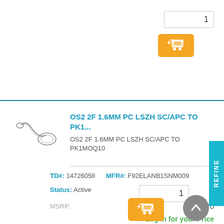1
[Figure (illustration): Orange add-to-cart button with cart icon]
OS2 2F 1.6MM PC LSZH SC/APC TO PK1...
OS2 2F 1.6MM PC LSZH SC/APC TO PK1MOQ10
TD#: 14726058   MFR#: F92ELANB1SNM009
Status: Active
MSRP: $63.70
Log in for your Price
1
[Figure (illustration): Orange add-to-cart button with cart icon]
[Figure (illustration): Gray scroll-to-top circular button with upward arrow]